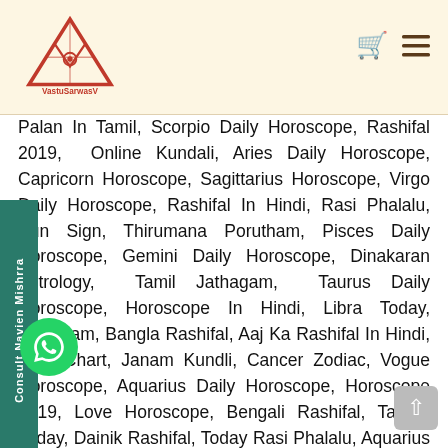[Figure (logo): VastuSarwasV logo with triangle/pyramid icon and text VastuSarwasV]
Palan In Tamil, Scorpio Daily Horoscope, Rashifal 2019, Online Kundali, Aries Daily Horoscope, Capricorn Horoscope, Sagittarius Horoscope, Virgo Daily Horoscope, Rashifal In Hindi, Rasi Phalalu, Sun Sign, Thirumana Porutham, Pisces Daily Horoscope, Gemini Daily Horoscope, Dinakaran Astrology, Tamil Jathagam, Taurus Daily Horoscope, Horoscope In Hindi, Libra Today, Jathagam, Bangla Rashifal, Aaj Ka Rashifal In Hindi, Birth Chart, Janam Kundli, Cancer Zodiac, Vogue Horoscope, Aquarius Daily Horoscope, Horoscope 2019, Love Horoscope, Bengali Rashifal, Taurus Today, Dainik Rashifal, Today Rasi Phalalu, Aquarius Today, Free Horoscope, Online Kundali Matching, Horoscope Tomorrow, Numerology Calculator, Sagittarius Daily